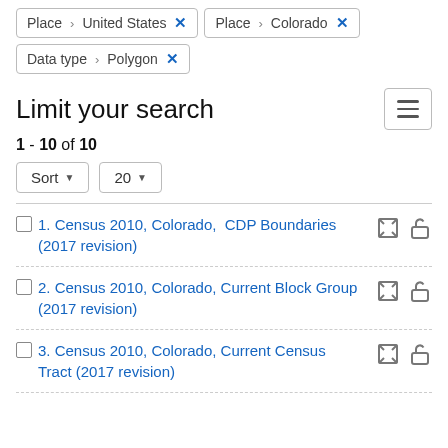Place › United States ×
Place › Colorado ×
Data type › Polygon ×
Limit your search
1 - 10 of 10
Sort ▾   20 ▾
1. Census 2010, Colorado,  CDP Boundaries (2017 revision)
2. Census 2010, Colorado, Current Block Group (2017 revision)
3. Census 2010, Colorado, Current Census Tract (2017 revision)